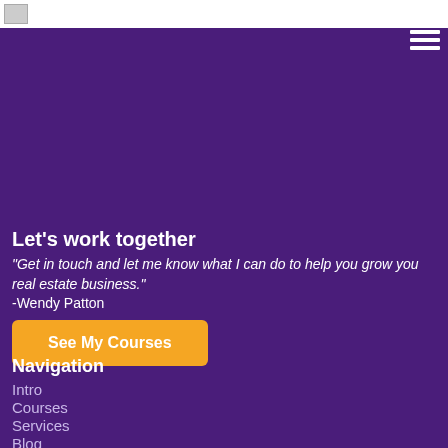[logo image]
[Figure (other): Hamburger menu icon (three white horizontal lines) in top-right corner on purple background]
Let's work together
"Get in touch and let me know what I can do to help you grow you real estate business." -Wendy Patton
[Figure (other): Orange button labeled 'See My Courses']
Navigation
Intro
Courses
Services
Blog
Login